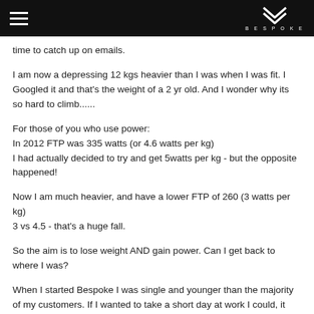BESPOKE
time to catch up on emails.
I am now a depressing 12 kgs heavier than I was when I was fit. I Googled it and that's the weight of a 2 yr old. And I wonder why its so hard to climb......
For those of you who use power:
In 2012 FTP was 335 watts (or 4.6 watts per kg)
I had actually decided to try and get 5watts per kg - but the opposite happened!
Now I am much heavier, and have a lower FTP of 260 (3 watts per kg)
3 vs 4.5 - that's a huge fall.
So the aim is to lose weight AND gain power. Can I get back to where I was?
When I started Bespoke I was single and younger than the majority of my customers. If I wanted to take a short day at work I could, it was easier with fewer customers! If I wanted